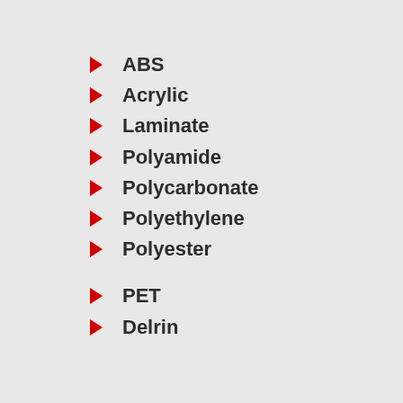ABS
Acrylic
Laminate
Polyamide
Polycarbonate
Polyethylene
Polyester
PET
Delrin